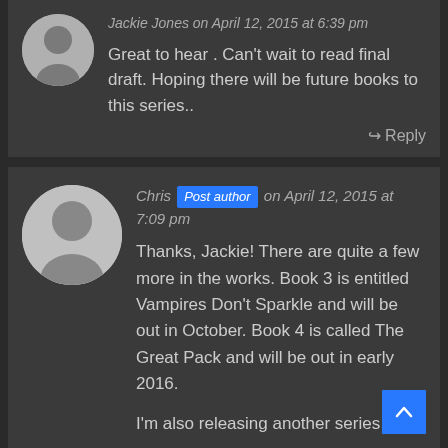Jackie Jones on April 12, 2015 at 6:39 pm
Great to hear . Can't wait to read final draft. Hoping there will be future books to this series..
Reply
Chris Post author on April 12, 2015 at 7:09 pm
Thanks, Jackie! There are quite a few more in the works. Book 3 is entitled Vampires Don't Sparkle and will be out in October. Book 4 is called The Great Pack and will be out in early 2016.
I'm also releasing another series